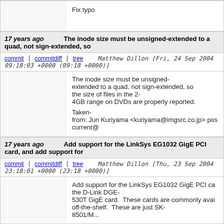Fix typo
17 years ago   The inode size must be unsigned-extended to a quad, not sign-extended, so
commit | commitdiff | tree   Matthew Dillon [Fri, 24 Sep 2004 09:18:03 +0000 (09:18 +0000)]
The inode size must be unsigned-extended to a quad, not sign-extended, so the size of files in the 2-4GB range on DVDs are properly reported.

Taken-from: Jun Kuriyama <kuriyama@imgsrc.co.jp> pos current@
17 years ago   Add support for the LinkSys EG1032 GigE PCI card, and add support for
commit | commitdiff | tree   Matthew Dillon [Thu, 23 Sep 2004 23:18:01 +0000 (23:18 +0000)]
Add support for the LinkSys EG1032 GigE PCI ca the D-Link DGE-530T GigE card.  These cards are commonly avai off-the-shelf.  These are just SK-8501/M...